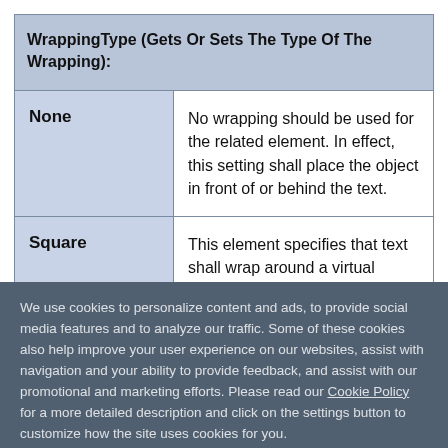| WrappingType (Gets Or Sets The Type Of The Wrapping): |
| --- |
| None | No wrapping should be used for the related element. In effect, this setting shall place the object in front of or behind the text. |
| Square | This element specifies that text shall wrap around a virtual rectangle |
We use cookies to personalize content and ads, to provide social media features and to analyze our traffic. Some of these cookies also help improve your user experience on our websites, assist with navigation and your ability to provide feedback, and assist with our promotional and marketing efforts. Please read our Cookie Policy for a more detailed description and click on the settings button to customize how the site uses cookies for you.
ACCEPT COOKIES
COOKIES SETTINGS